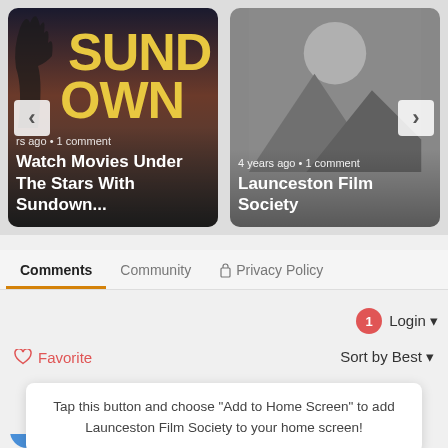[Figure (screenshot): Left card: 'Watch Movies Under The Stars With Sundown...' article card with dark reddish background and SUND text overlay, showing 'rs ago • 1 comment']
[Figure (screenshot): Right card: 'Launceston Film Society' article card with grey placeholder image, showing '4 years ago • 1 comment']
Comments    Community    Privacy Policy
Login
Favorite    Sort by Best
Tap this button and choose "Add to Home Screen" to add Launceston Film Society to your home screen!